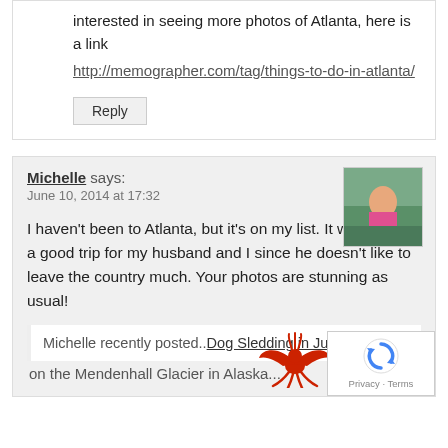interested in seeing more photos of Atlanta, here is a link http://memographer.com/tag/things-to-do-in-atlanta/
Reply
Michelle says:
June 10, 2014 at 17:32
[Figure (photo): Avatar photo of Michelle showing a person in pink at a scenic outdoor location]
I haven't been to Atlanta, but it's on my list. It would make a good trip for my husband and I since he doesn't like to leave the country much. Your photos are stunning as usual!
Michelle recently posted..Dog Sledding in June
[Figure (logo): Red phoenix bird logo]
on the Mendenhall Glacier in Alaska...
[Figure (logo): reCAPTCHA badge with blue circular arrows icon and Privacy · Terms text]